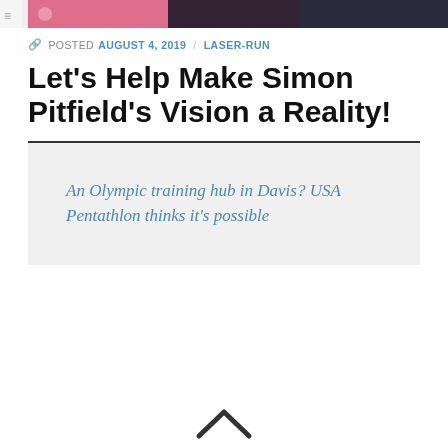[Figure (photo): Cropped top photo strip showing athletes in athletic wear, partial view]
POSTED AUGUST 4, 2019 / LASER-RUN
Let’s Help Make Simon Pitfield’s Vision a Reality!
An Olympic training hub in Davis? USA Pentathlon thinks it’s possible